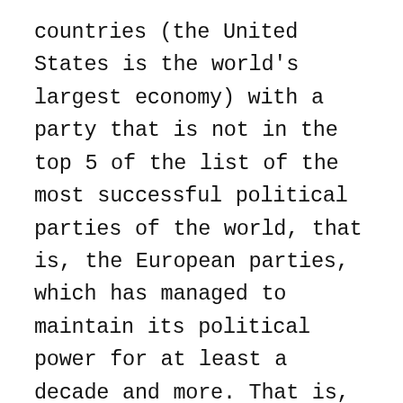countries (the United States is the world's largest economy) with a party that is not in the top 5 of the list of the most successful political parties of the world, that is, the European parties, which has managed to maintain its political power for at least a decade and more. That is, if we are to reach the top 2 or 3 in the economic power of the world. The United States itself cannot claim such superiority. All these indicators in 2020 are the result of the American people's own efforts. On the other hand, the United States as a country has many assets. It has great power, with great influence all over the